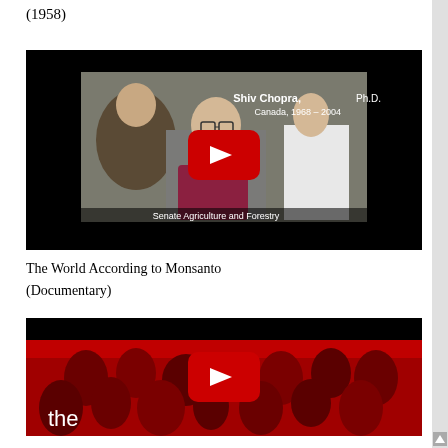(1958)
[Figure (screenshot): YouTube video thumbnail showing Shiv Chopra, Ph.D., Canada, 1968-2004, Senate Agriculture and Forestry hearing. A man in a gray suit with glasses is seated at a hearing table. Red YouTube play button overlay. Black background.]
The World According to Monsanto
(Documentary)
[Figure (screenshot): YouTube video thumbnail showing a red-tinted crowd image with white text 'the' in lower left. Red YouTube play button overlay. Black background.]